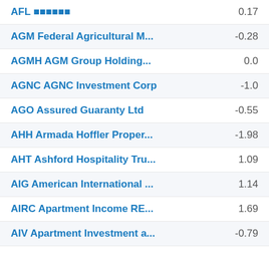AFL ■■■■■■  0.17
AGM Federal Agricultural M...  -0.28
AGMH AGM Group Holding...  0.0
AGNC AGNC Investment Corp  -1.0
AGO Assured Guaranty Ltd  -0.55
AHH Armada Hoffler Proper...  -1.98
AHT Ashford Hospitality Tru...  1.09
AIG American International ...  1.14
AIRC Apartment Income RE...  1.69
AIV Apartment Investment a...  -0.79